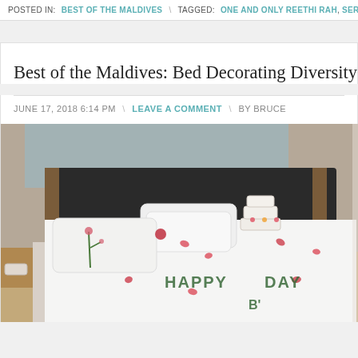POSTED IN: BEST OF THE MALDIVES \ TAGGED: ONE AND ONLY REETHI RAH, SERVICE
Best of the Maldives: Bed Decorating Diversity – Kurama
JUNE 17, 2018 6:14 PM \ LEAVE A COMMENT \ BY BRUCE
[Figure (photo): Hotel room bed decorated with flowers and a small cake, with 'HAPPY DAY B' written on the white bed sheet using flower petals, white pillows stacked on the bed, wooden headboard and floor, warm lighting.]